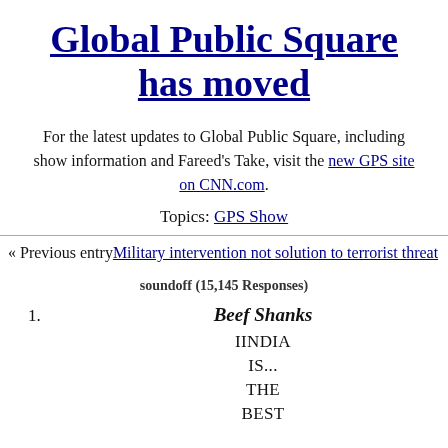Global Public Square has moved
For the latest updates to Global Public Square, including show information and Fareed's Take, visit the new GPS site on CNN.com.
Topics: GPS Show
« Previous entry Military intervention not solution to terrorist threat
soundoff (15,145 Responses)
1. Beef Shanks
IINDIA
IS...
THE
BEST